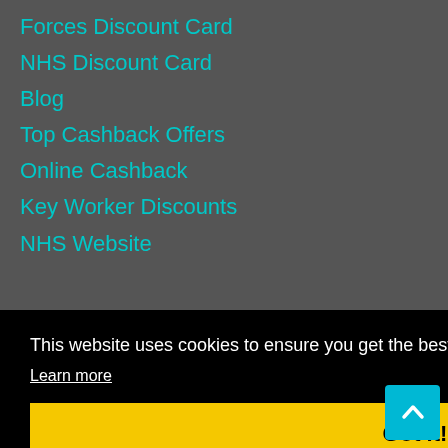Forces Discount Card
NHS Discount Card
Blog
Top Cashback Offers
Online Cashback
Key Worker Discounts
NHS Website
Our Policies
Privacy Policy
This website uses cookies to ensure you get the best experience on our website.
Learn more
Got it!